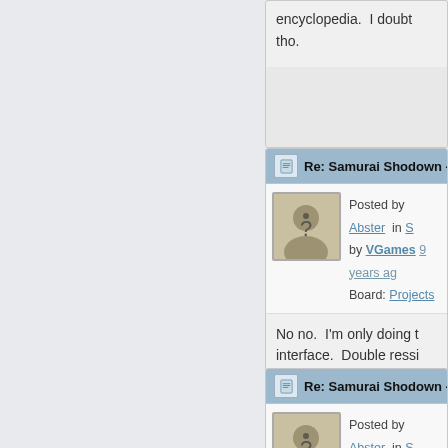encyclopedia.  I doubt tho.
Re: Samurai Shodown -
Posted by Abster  in  S by VGames  9 years ag Board: Projects
No no.  I'm only doing t interface.  Double ressi would take too long.
Re: Samurai Shodown -
Posted by Abster  in  S by VGames  9 years ag